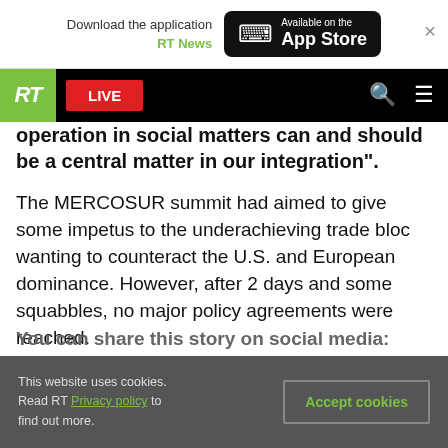Download the application RT News | Available on the App Store
[Figure (screenshot): RT website navigation bar with RT logo (green background), LIVE button (red), search and menu icons on black background]
operation in social matters can and should be a central matter in our integration".
The MERCOSUR summit had aimed to give some impetus to the underachieving trade bloc wanting to counteract the U.S. and European dominance. However, after 2 days and some squabbles, no major policy agreements were reached.
You can share this story on social media:
This website uses cookies. Read RT Privacy policy to find out more.